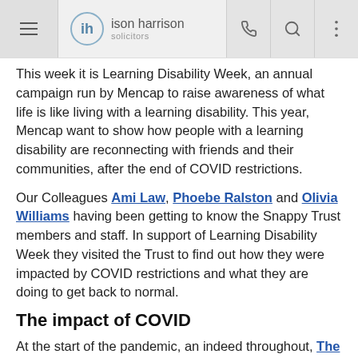ison harrison solicitors
This week it is Learning Disability Week, an annual campaign run by Mencap to raise awareness of what life is like living with a learning disability. This year, Mencap want to show how people with a learning disability are reconnecting with friends and their communities, after the end of COVID restrictions.
Our Colleagues Ami Law, Phoebe Ralston and Olivia Williams having been getting to know the Snappy Trust members and staff. In support of Learning Disability Week they visited the Trust to find out how they were impacted by COVID restrictions and what they are doing to get back to normal.
The impact of COVID
At the start of the pandemic, an indeed throughout, The Snappy Trust had to think on their feet about how they could continue to support their members and